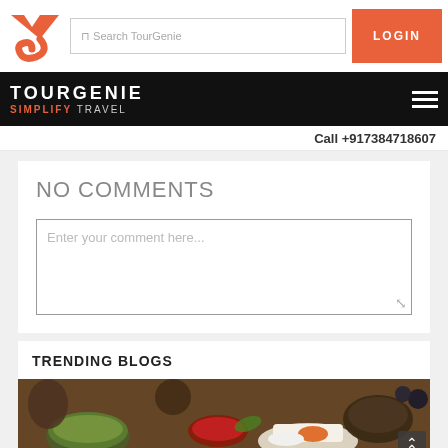[Figure (logo): TourGenie logo: red/orange angular arrow chevron shape]
Search TourGenie
LOGIN
TOURGENIE
SIMPLIFY TRAVEL
Call +917384718607
NO COMMENTS
Enter your comment here...
TRENDING BLOGS
[Figure (photo): Food photo showing Asian cuisine with bowls of soup, sauces, sashimi, and various dishes on a wooden table]